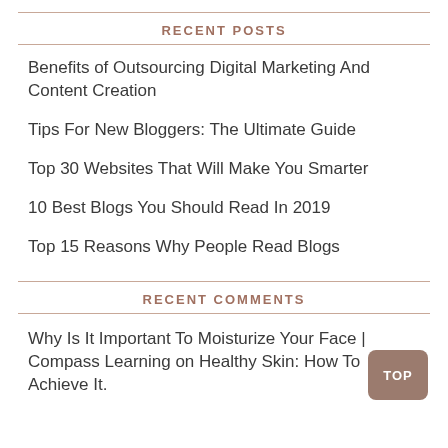RECENT POSTS
Benefits of Outsourcing Digital Marketing And Content Creation
Tips For New Bloggers: The Ultimate Guide
Top 30 Websites That Will Make You Smarter
10 Best Blogs You Should Read In 2019
Top 15 Reasons Why People Read Blogs
RECENT COMMENTS
Why Is It Important To Moisturize Your Face | Compass Learning on Healthy Skin: How To Achieve It.